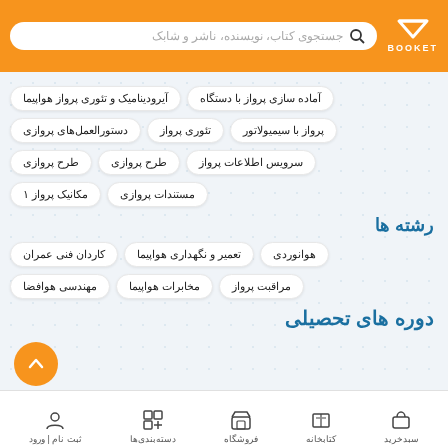BOOKET - جستجوی کتاب، نویسنده، ناشر و شابک
آماده سازی پرواز با دستگاه
آیرودینامیک و تئوری پرواز هواپیما
پرواز با سیمیولاتور
تئوری پرواز
دستورالعمل‌های پروازی
سرویس اطلاعات پرواز
طرح پروازی
طرح پروازی
مستندات پروازی
مکانیک پرواز ۱
رشته ها
هوانوردی
تعمیر و نگهداری هواپیما
کاردان فنی عمران
مراقبت پرواز
مخابرات هواپیما
مهندسی هوافضا
دوره های تحصیلی
سبدخرید | کتابخانه | فروشگاه | دسته‌بندی‌ها | ثبت نام | ورود